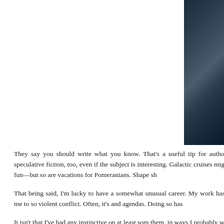[Figure (photo): A dark photograph with deep blue-grey tones, appearing to show a scene with dark atmospheric coloring, positioned in the upper right corner of the page.]
They say you should write what you know. That's a useful tip for authors of speculative fiction, too, even if the subject is interesting. Galactic cruises might be fun—but so are vacations for Pomeranians. Shape sh...
That being said, I'm lucky to have a somewhat unusual career. My work has sent me to some places in the world touched by violent conflict. Often, it's my job to understand perspectives and agendas. Doing so has...
It isn't that I've had any extraordinary experiences. It's instinctive on at least some level to understand people around them, in ways I probably w...